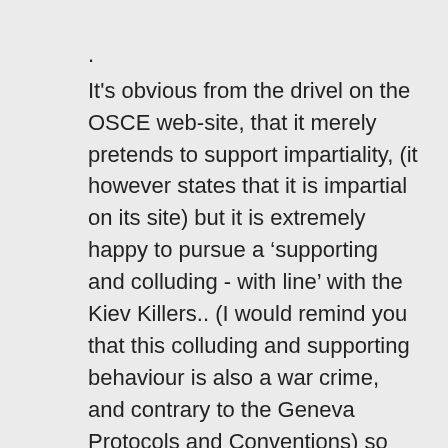. It's obvious from the drivel on the OSCE web-site, that it merely pretends to support impartiality, (it however states that it is impartial on its site) but it is extremely happy to pursue a ‘supporting and colluding - with line’ with the Kiev Killers.. (I would remind you that this colluding and supporting behaviour is also a war crime, and contrary to the Geneva Protocols and Conventions) so it’s not merely benign behaviour, ‘going through the motions ’ of pretending to be an ethical organisation..